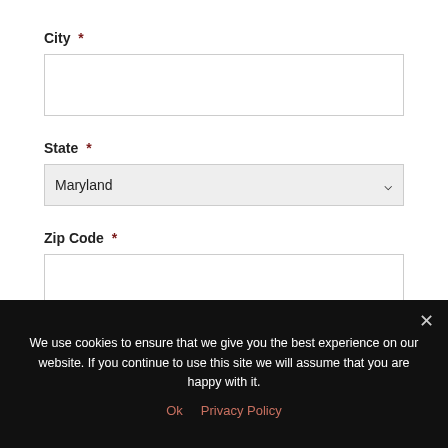City *
State *
Maryland (selected state)
Zip Code *
Age *
We use cookies to ensure that we give you the best experience on our website. If you continue to use this site we will assume that you are happy with it.
Ok   Privacy Policy